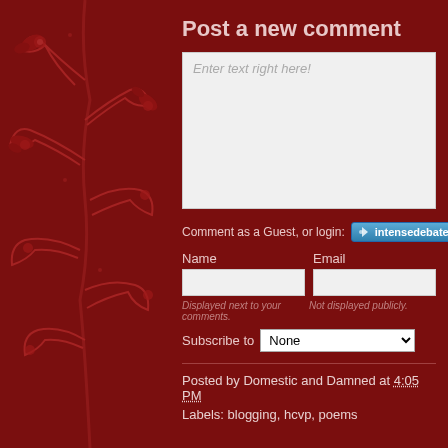Post a new comment
Enter text right here!
Comment as a Guest, or login:
Name
Email
Displayed next to your comments.
Not displayed publicly.
Subscribe to  None
Posted by Domestic and Damned at 4:05 PM
Labels: blogging, hcvp, poems
Newer Post
Home